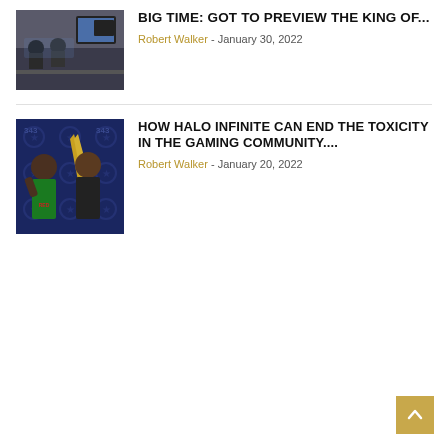[Figure (photo): People in a room with screens, gaming preview event]
BIG TIME: GOT TO PREVIEW THE KING OF...
Robert Walker - January 30, 2022
[Figure (photo): Two people posing in front of a Halo-themed backdrop with Halo Infinite branding]
How Halo Infinite Can End The Toxicity In the Gaming Community....
Robert Walker - January 20, 2022